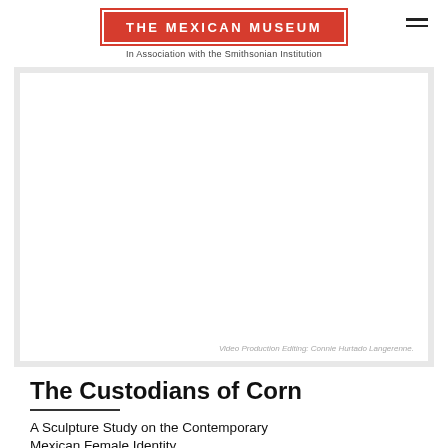THE MEXICAN MUSEUM
In Association with the Smithsonian Institution
[Figure (other): Empty white content area representing an embedded video player placeholder]
Video Production Editing: Connie Hurtado Langerenne.
The Custodians of Corn
A Sculpture Study on the Contemporary Mexican Female Identity